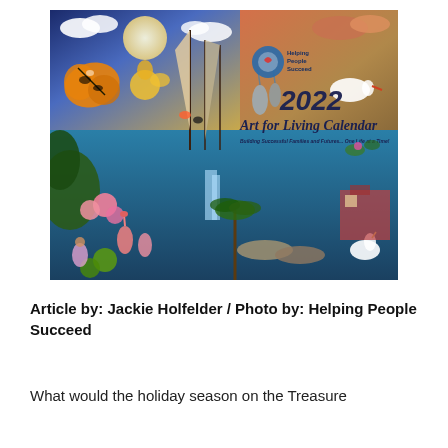[Figure (illustration): 2022 Art for Living Calendar cover image by Helping People Succeed, featuring a vibrant collage of Florida wildlife and scenes including a monarch butterfly, sailboats, cranes, flamingos, tropical flowers, and coastal scenes. Center text reads '2022 Art for Living Calendar - Building Successful Families and Futures... One Life at a Time!']
Article by: Jackie Holfelder / Photo by: Helping People Succeed
What would the holiday season on the Treasure